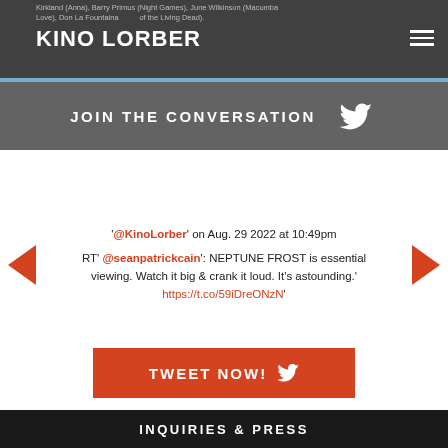Kirkland (Anna), Barry Primus (Night Games), June Wilkinson (Macumba Love), Don La Fountaina of the Living Dead). KINO LORBER
JOIN THE CONVERSATION
'@KinoLorber' on Aug. 29 2022 at 10:49pm RT '@seanpatrickcain': NEPTUNE FROST is essential viewing. Watch it big & crank it loud. It's astounding.' https://t.co/59iDreONzN'
TWEET NOW!
INQUIRIES & PRESS
GENERAL INQUIRIES